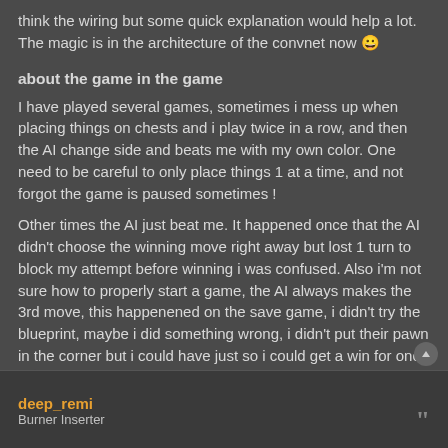think the wiring but some quick explanation would help a lot. The magic is in the architecture of the convnet now 😀
about the game in the game
I have played several games, sometimes i mess up when placing things on chests and i play twice in a row, and then the AI change side and beats me with my own color. One need to be careful to only place things 1 at a time, and not forgot the game is paused sometimes !
Other times the AI just beat me. It happened once that the AI didn't choose the winning move right away but lost 1 turn to block my attempt before winning i was confused. Also i'm not sure how to properly start a game, the AI always makes the 3rd move, this happenened on the save game, i didn't try the blueprint, maybe i did something wrong, i didn't put their pawn in the corner but i could have just so i could get a win for once 😈
deep_remi
Burner Inserter